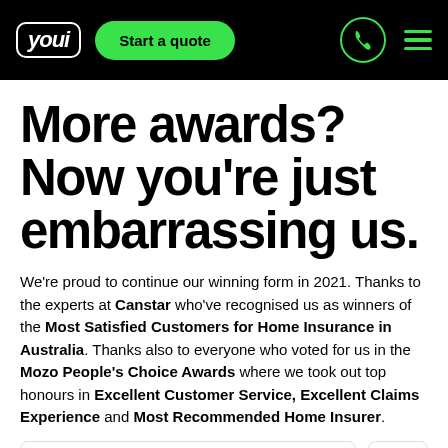[Figure (screenshot): Youi insurance website navigation bar with logo, Start a quote button, phone icon, and hamburger menu]
More awards? Now you're just embarrassing us.
We're proud to continue our winning form in 2021. Thanks to the experts at Canstar who've recognised us as winners of the Most Satisfied Customers for Home Insurance in Australia. Thanks also to everyone who voted for us in the Mozo People's Choice Awards where we took out top honours in Excellent Customer Service, Excellent Claims Experience and Most Recommended Home Insurer.